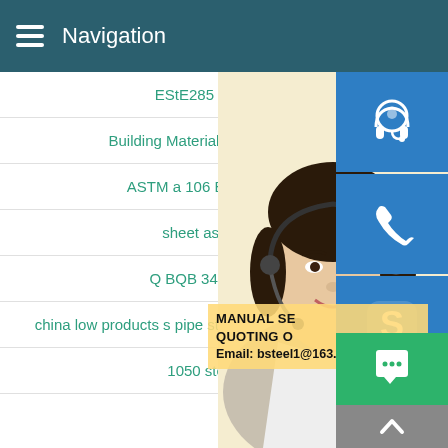Navigation
EStE285 steel mild s
Building Material Galvalume Aluzin
ASTM a 106 B Seamless Ste
sheet astm a591 a
Q BQB 340 B550NQR
china low products s pipe steel astm a36 steel equivalent
1050 steel prices
[Figure (photo): Customer service representative woman with headset, smiling, with blue icon buttons for headset/phone/Skype on the right, a yellow overlay box showing MANUAL SE... QUOTING O... Email: bsteel1@163.com, a green chat button, and a grey up arrow button]
MANUAL SE... QUOTING O... Email: bsteel1@163.com